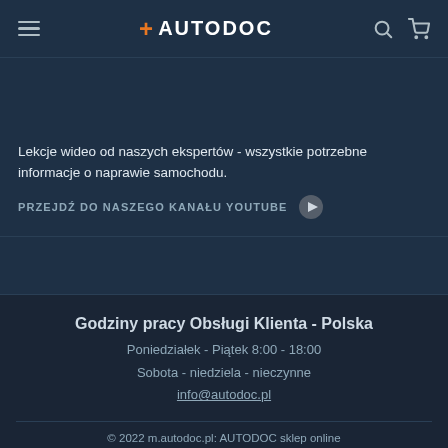AUTODOC
Lekcje wideo od naszych ekspertów - wszystkie potrzebne informacje o naprawie samochodu.
PRZEJDŹ DO NASZEGO KANAŁU YOUTUBE
Godziny pracy Obsługi Klienta - Polska
Poniedziałek - Piątek 8:00 - 18:00
Sobota - niedziela - nieczynne
info@autodoc.pl
© 2022 m.autodoc.pl: AUTODOC sklep online
Klasyczna strona internetowa